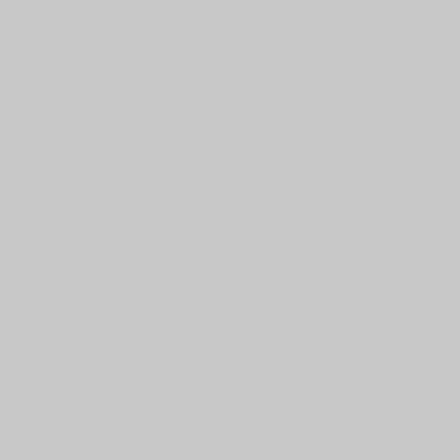C
C
C
C
It's
-2:
de
C.
he
...
or
-2
F.
if
the
yo
ple
Wi